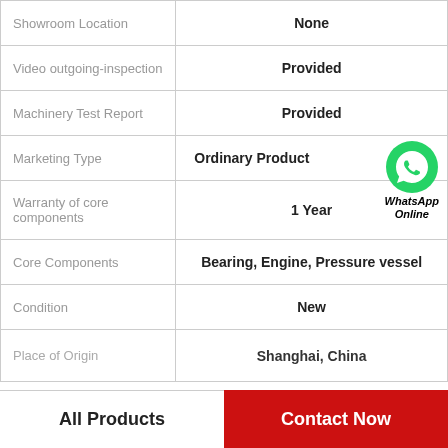| Property | Value |
| --- | --- |
| Showroom Location | None |
| Video outgoing-inspection | Provided |
| Machinery Test Report | Provided |
| Marketing Type | Ordinary Product |
| Warranty of core components | 1 Year |
| Core Components | Bearing, Engine, Pressure vessel |
| Condition | New |
| Place of Origin | Shanghai, China |
All Products
Contact Now